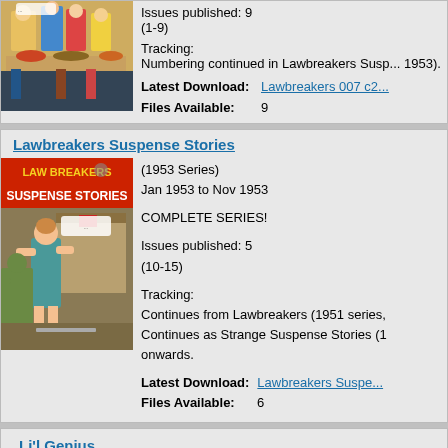[Figure (illustration): Partial comic book cover showing people at a table, top of page]
Issues published: 9
(1-9)
Tracking:
Numbering continued in Lawbreakers Suspense Stories (1953).
Latest Download:
Lawbreakers 007 c2...
Files Available: 9
Lawbreakers Suspense Stories
[Figure (illustration): Comic book cover for Lawbreakers Suspense Stories showing a woman in a teal dress being threatened]
(1953 Series)
Jan 1953 to Nov 1953

COMPLETE SERIES!

Issues published: 5
(10-15)

Tracking:
Continues from Lawbreakers (1951 series,
Continues as Strange Suspense Stories (1
onwards.
Latest Download:
Lawbreakers Suspe...
Files Available: 6
Li'l Genius